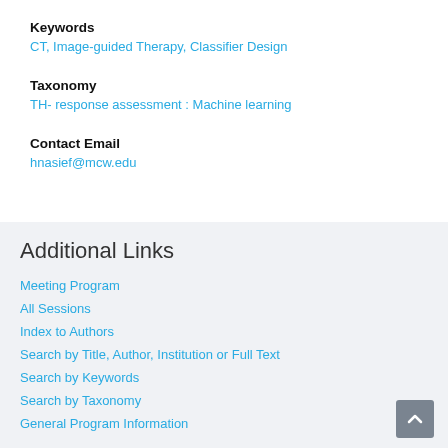Keywords
CT, Image-guided Therapy, Classifier Design
Taxonomy
TH- response assessment : Machine learning
Contact Email
hnasief@mcw.edu
Additional Links
Meeting Program
All Sessions
Index to Authors
Search by Title, Author, Institution or Full Text
Search by Keywords
Search by Taxonomy
General Program Information